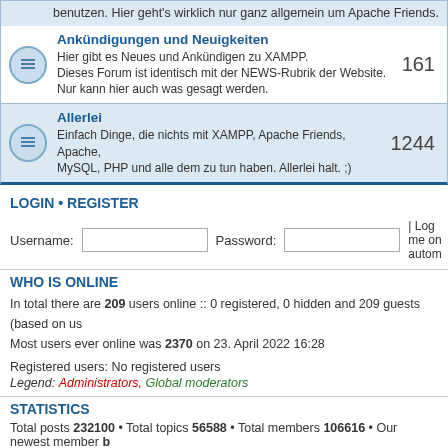benutzen. Hier geht's wirklich nur ganz allgemein um Apache Friends.
Ankündigungen und Neuigkeiten
Hier gibt es Neues und Ankündigen zu XAMPP. Dieses Forum ist identisch mit der NEWS-Rubrik der Website. Nur kann hier auch was gesagt werden. 161
Allerlei
Einfach Dinge, die nichts mit XAMPP, Apache Friends, Apache, MySQL, PHP und alle dem zu tun haben. Allerlei halt. ;) 1244
LOGIN • REGISTER
Username: [input] Password: [input] | Log me on autom
WHO IS ONLINE
In total there are 209 users online :: 0 registered, 0 hidden and 209 guests (based on us Most users ever online was 2370 on 23. April 2022 16:28
Registered users: No registered users
Legend: Administrators, Global moderators
STATISTICS
Total posts 232100 • Total topics 56588 • Total members 106616 • Our newest member
Board index | The team • Delete all
Powered by Bitnami phpBB
Privacy Policy